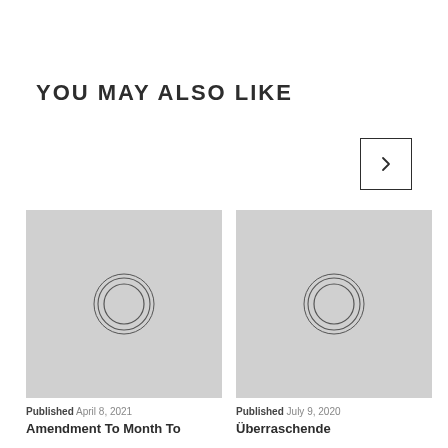YOU MAY ALSO LIKE
[Figure (screenshot): Navigation arrow button (chevron right) inside a square bordered box]
[Figure (photo): Placeholder image with grey background and concentric circles icon]
Published April 8, 2021
Amendment To Month To
[Figure (photo): Placeholder image with grey background and concentric circles icon]
Published July 9, 2020
Überraschende